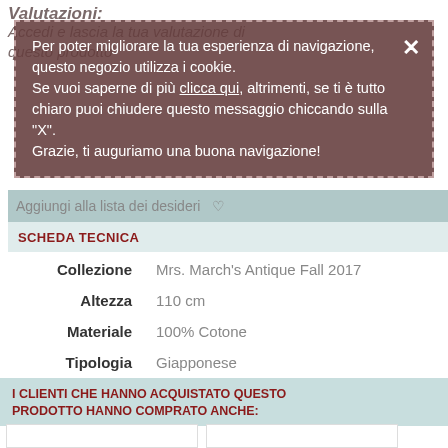Valutazioni:
Accedi e lascia la tua valutazione di questo prodotto
Per poter migliorare la tua esperienza di navigazione, questo negozio utilizza i cookie.
Se vuoi saperne di più clicca qui, altrimenti, se ti è tutto chiaro puoi chiudere questo messaggio chiccando sulla "X".
Grazie, ti auguriamo una buona navigazione!
Aggiungi alla lista dei desideri
SCHEDA TECNICA
| Campo | Valore |
| --- | --- |
| Collezione | Mrs. March's Antique Fall 2017 |
| Altezza | 110 cm |
| Materiale | 100% Cotone |
| Tipologia | Giapponese |
| Tessuto | Stampato |
I CLIENTI CHE HANNO ACQUISTATO QUESTO PRODOTTO HANNO COMPRATO ANCHE: